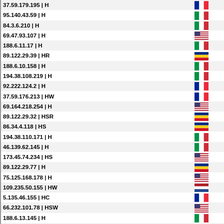| IP | Type | Flag |
| --- | --- |
| 37.59.179.195 | H | FR |
| 95.140.43.59 | H | IT |
| 84.3.6.210 | H | IT |
| 69.47.93.107 | H | US |
| 188.6.11.17 | H | IT |
| 89.122.29.39 | HR | RO |
| 188.6.10.158 | H | IT |
| 194.38.108.219 | H | IT |
| 92.222.124.2 | H | FR |
| 37.59.176.213 | HW | FR |
| 69.164.218.254 | H | US |
| 89.122.29.32 | HSR | RO |
| 86.34.4.118 | HS | RO |
| 194.38.110.171 | H | IT |
| 46.139.62.145 | H | IT |
| 173.45.74.234 | HS | US |
| 89.122.29.77 | H | RO |
| 75.125.168.178 | H | US |
| 109.235.50.155 | HW | NL |
| 5.135.46.155 | HC | FR |
| 66.232.101.78 | HSW | US |
| 188.6.13.145 | H | IT |
| 66.235.180.7 | HS | US |
| 84.3.7.235 | H | IT |
| 66.232.123.38 | HS | US |
| 109.73.66.220 | H | UK |